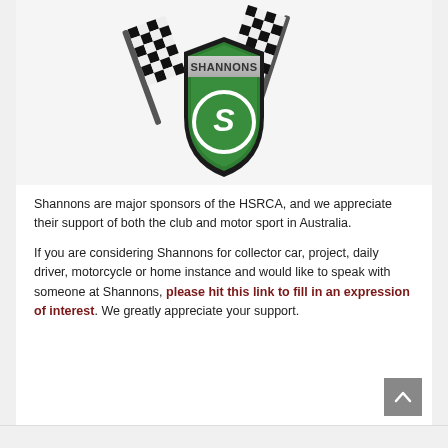[Figure (logo): Shannons insurance logo — green shield with 'SHANNONS' text and a stylized S letter mark, flanked by two black-and-white checkered racing flags]
Shannons are major sponsors of the HSRCA, and we appreciate their support of both the club and motor sport in Australia.
If you are considering Shannons for collector car, project, daily driver, motorcycle or home instance and would like to speak with someone at Shannons, please hit this link to fill in an expression of interest. We greatly appreciate your support.